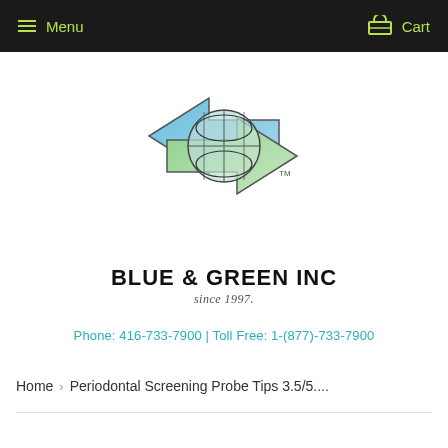Menu | Cart
[Figure (logo): Blue & Green Inc logo with two arrows (blue left arrow and green right arrow) overlapping a globe/lens shape, with company name 'BLUE & GREEN INC' and 'since 1997.' below]
Phone: 416-733-7900 | Toll Free: 1-(877)-733-7900
Home › Periodontal Screening Probe Tips 3.5/5....